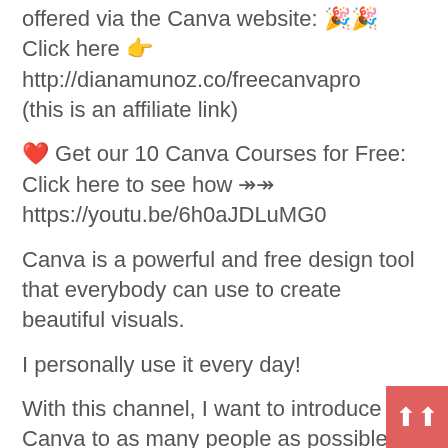offered via the Canva website: 🎉🎉
Click here 👉
http://dianamunoz.co/freecanvapro
(this is an affiliate link)
❤️ Get our 10 Canva Courses for Free: Click here to see how ↠ https://youtu.be/6h0aJDLuMG0
Canva is a powerful and free design tool that everybody can use to create beautiful visuals.
I personally use it every day!
With this channel, I want to introduce Canva to as many people as possible and teach them how to use it to design professional visuals and graphics to build their personal brand or grow their business.